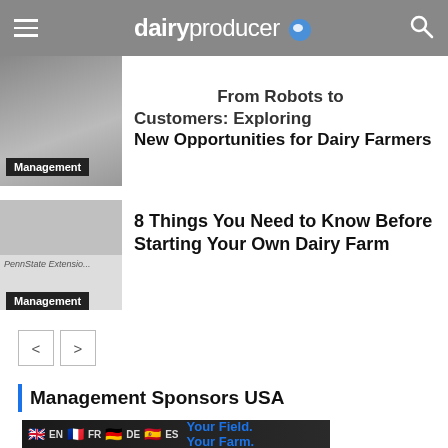dairyproducer
From Robots to Customers: Exploring New Opportunities for Dairy Farmers
Management
8 Things You Need to Know Before Starting Your Own Dairy Farm
Management
< >
Management Sponsors USA
[Figure (photo): Advertisement banner showing flags and text 'Your Field. Your Farm.' with EN, FR, DE, ES language options]